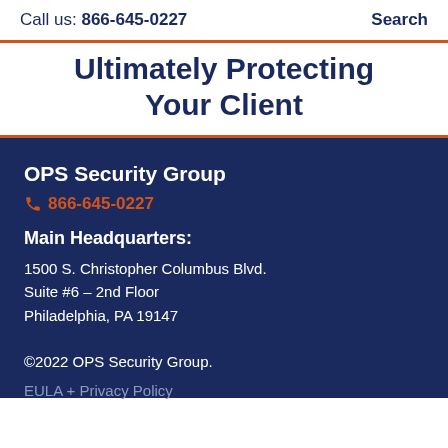Call us: 866-645-0227   Search
Ultimately Protecting Your Client
OPS Security Group
866-645-0227
Main Headquarters:
1500 S. Christopher Columbus Blvd.
Suite #6 – 2nd Floor
Philadelphia, PA 19147
©2022 OPS Security Group.
EULA + Privacy Policy